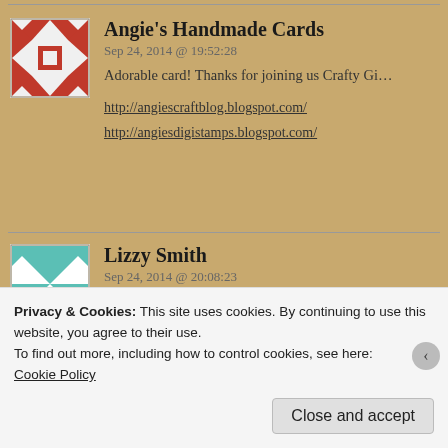[Figure (illustration): Red and white quilt pattern avatar for Angie's Handmade Cards]
Angie's Handmade Cards
Sep 24, 2014 @ 19:52:28
Adorable card! Thanks for joining us Crafty Gi...
http://angiescraftblog.blogspot.com/
http://angiesdigistamps.blogspot.com/
[Figure (illustration): Teal and white geometric quilt pattern avatar for Lizzy Smith]
Lizzy Smith
Sep 24, 2014 @ 20:08:23
Oh this is cute. What a great image! Thank you... Come and Get It this week. I hope to see you ba...
Privacy & Cookies: This site uses cookies. By continuing to use this website, you agree to their use.
To find out more, including how to control cookies, see here:
Cookie Policy
Close and accept